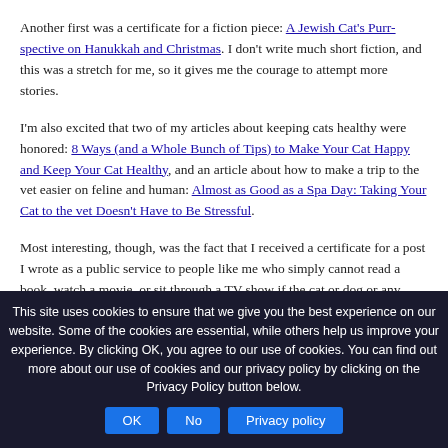Another first was a certificate for a fiction piece: A Jewish Cat's Purr-spective on Hanukkah and Christmas. I don't write much short fiction, and this was a stretch for me, so it gives me the courage to attempt more stories.
I'm also excited that two of my articles about keeping cats healthy were honored: 8 Ways (and a Whole Bunch of Tips) to Make Your Cat Happy and Keep Your Cat Healthy, and an article about how to make a trip to the vet easier on feline and human: Almost as Good as a Spa Day: Taking Your Cat to the vet Doesn't Have to Be Stressful.
Most interesting, though, was the fact that I received a certificate for a post I wrote as a public service to people like me who simply cannot read a book, watch a movie, or sit through a TV show if the cat or dog or any other animal dies: What Happens to the Cat on Stranger Things? A spoiler for animal lovers.
This site uses cookies to ensure that we give you the best experience on our website. Some of the cookies are essential, while others help us improve your experience. By clicking OK, you agree to our use of cookies. You can find out more about our use of cookies and our privacy policy by clicking on the Privacy Policy button below.